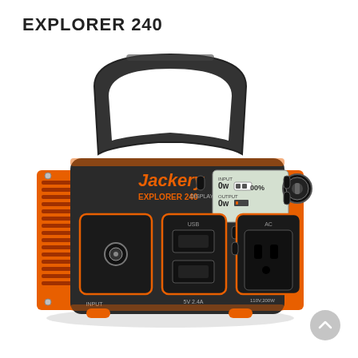EXPLORER 240
[Figure (photo): Jackery Explorer 240 portable power station. A black and orange portable power generator with a large top handle, LCD display showing input/output power and battery percentage, DC input port, two USB ports (5V 2.4A), one AC outlet (110V 200W pure sine wave), and a 12V car port on the front panel.]
[Figure (other): Gray circular scroll-to-top button in the bottom right corner]